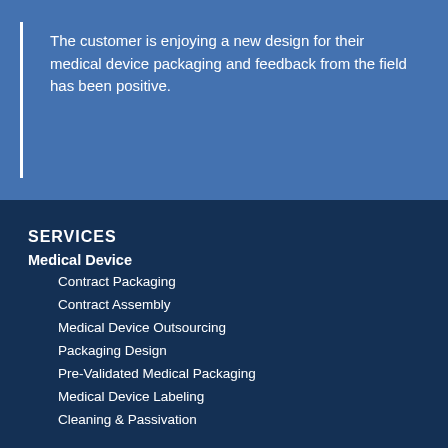The customer is enjoying a new design for their medical device packaging and feedback from the field has been positive.
SERVICES
Medical Device
Contract Packaging
Contract Assembly
Medical Device Outsourcing
Packaging Design
Pre-Validated Medical Packaging
Medical Device Labeling
Cleaning & Passivation